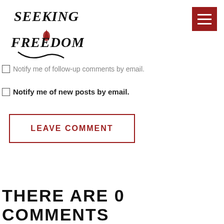[Figure (logo): Seeking Freedom handwritten/decorative logo in black with red flame accent]
Notify me of follow-up comments by email.
Notify me of new posts by email.
LEAVE COMMENT
THERE ARE 0 COMMENTS